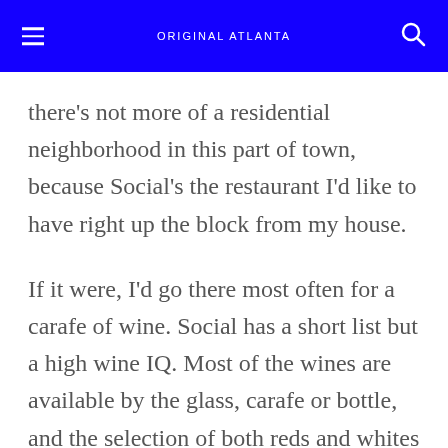ORIGINAL ATLANTA
there's not more of a residential neighborhood in this part of town, because Social's the restaurant I'd like to have right up the block from my house.
If it were, I'd go there most often for a carafe of wine. Social has a short list but a high wine IQ. Most of the wines are available by the glass, carafe or bottle, and the selection of both reds and whites is